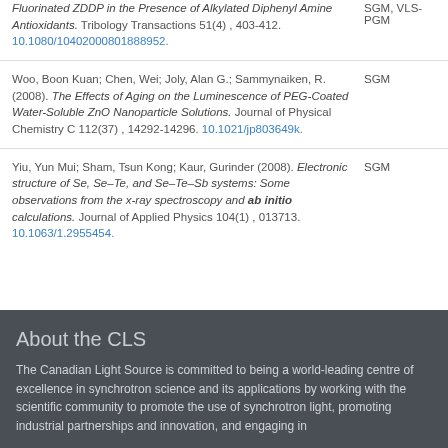Fluorinated ZDDP in the Presence of Alkylated Diphenyl Amine Antioxidants. Tribology Transactions 51(4) , 403-412. 10.1080/10402000801888952. | SGM, VLS-PGM
Woo, Boon Kuan; Chen, Wei; Joly, Alan G.; Sammynaiken, R. (2008). The Effects of Aging on the Luminescence of PEG-Coated Water-Soluble ZnO Nanoparticle Solutions. Journal of Physical Chemistry C 112(37) , 14292-14296. 10.1021/jp803649k. | SGM
Yiu, Yun Mui; Sham, Tsun Kong; Kaur, Gurinder (2008). Electronic structure of Se, Se–Te, and Se–Te–Sb systems: Some observations from the x-ray spectroscopy and ab initio calculations. Journal of Applied Physics 104(1) , 013713. 10.1063/1.2955454. | SGM
About the CLS
The Canadian Light Source is committed to being a world-leading centre of excellence in synchrotron science and its applications by working with the scientific community to promote the use of synchrotron light, promoting industrial partnerships and innovation, and engaging in